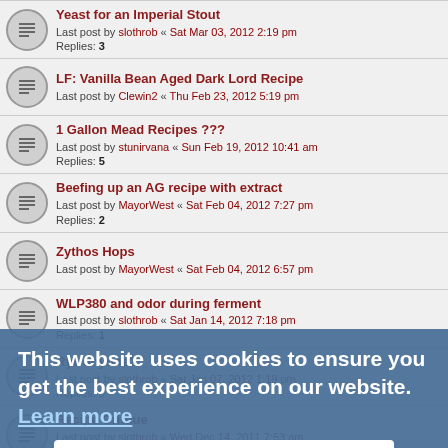Yeast for an Imperial Stout
Last post by slothrob « Sat Mar 03, 2012 2:19 pm
Replies: 3
LF: Vanilla Bean Aged Dark Lord Recipe
Last post by Clewin2 « Thu Feb 23, 2012 5:19 pm
1 Gallon Mead Recipes ???
Last post by stunirvana « Sun Feb 19, 2012 10:41 am
Replies: 5
Beefing up an AG recipe with extract
Last post by MayorWest « Sat Feb 04, 2012 7:27 pm
Replies: 2
Zythos Hops
Last post by MayorWest « Sat Feb 04, 2012 6:57 pm
WLP380 and odor during ferment
Last post by slothrob « Sat Jan 14, 2012 7:18 pm
Replies: 1
Rye anyone?
Last post by slothrob « Sat Jan 07, 2012 1:19 pm
Replies: 5
Recipe Critque
Last post by slothrob « Wed Dec 14, 2011 7:53 am
Replies: 8
Lemon Grass
Last post by Laura13 « Wed Dec 14, 2011 1:43 am
Replies: 2
how can I add BrewVint Alcohol Boost ?
Last post by slothrob « Sun Dec 04, 2011 10:36 am
This website uses cookies to ensure you get the best experience on our website. Learn more
Got it!